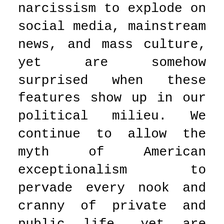We allowed childishness, real, hate, and narcissism to explode on social media, mainstream news, and mass culture, yet are somehow surprised when these features show up in our political milieu. We continue to allow the myth of American exceptionalism to pervade every nook and cranny of private and public life, yet are shocked at Trump’s personal hubris. We’ve allowed ourselves to believe that we should “Make America Great Again”, when the plight of the world’s poor continues to worsen. There are now eight people (six are Americans) with more wealth than half the world’s population. If one considers all of those in the